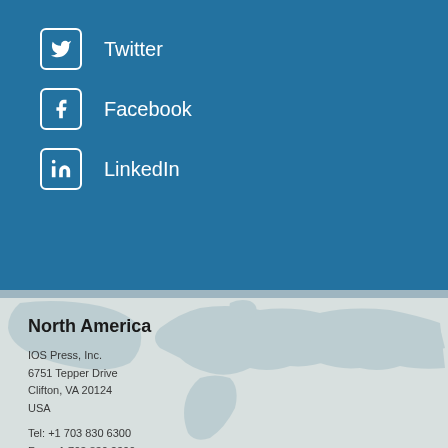Twitter
Facebook
LinkedIn
North America
IOS Press, Inc.
6751 Tepper Drive
Clifton, VA 20124
USA
Tel: +1 703 830 6300
Fax: +1 703 830 2300
sales@iospress.com
For editorial issues, like the status of your submitted paper or proposals, write to editorial@iospress.nl
Europe
IOS Press
Nieuwe Hemweg 6B